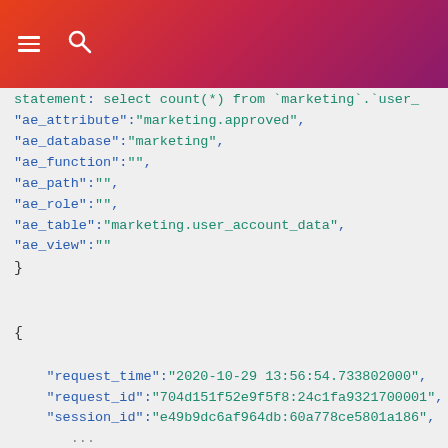Menu and Search icons in gradient header bar
statement: select count(*) from `marketing`.`user_
"ae_attribute":"marketing.approved",
"ae_database":"marketing",
"ae_function":"",
"ae_path":"",
"ae_role":"",
"ae_table":"marketing.user_account_data",
"ae_view":""
}

{
"request_time":"2020-10-29 13:56:54.733802000",
"request_id":"704d151f52e9f5f8:24c1fa9321700001",
"session_id":"e49b9dc6af964db:60a778ce5801a186",
...
"statement_type":"SCAN_START",
...
"statement":"select count(*) from `marketing`.`user_
...
}

{